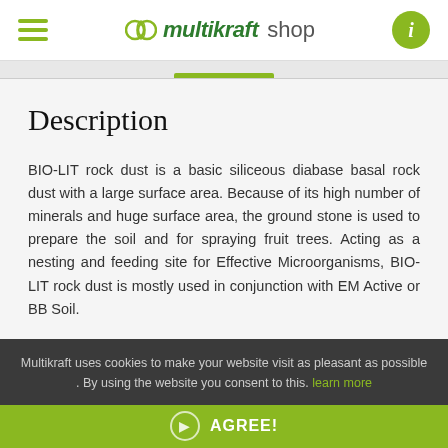Multikraft shop
Description
BIO-LIT rock dust is a basic siliceous diabase basal rock dust with a large surface area. Because of its high number of minerals and huge surface area, the ground stone is used to prepare the soil and for spraying fruit trees. Acting as a nesting and feeding site for Effective Microorganisms, BIO-LIT rock dust is mostly used in conjunction with EM Active or BB Soil.
Multikraft uses cookies to make your website visit as pleasant as possible . By using the website you consent to this. learn more
AGREE!